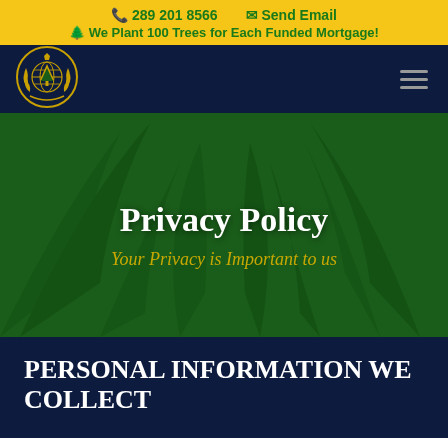📞 289 201 8566   ✉ Send Email
🌲 We Plant 100 Trees for Each Funded Mortgage!
[Figure (logo): Circular emblem with a tree inside a globe, surrounded by laurel leaves, gold and dark blue colors]
Privacy Policy
Your Privacy is Important to us
PERSONAL INFORMATION WE COLLECT